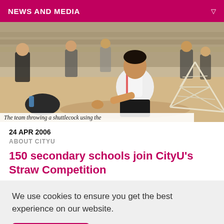NEWS AND MEDIA
[Figure (photo): A student kneeling on the floor working with a straw structure during a competition, with other participants visible in the background.]
The team throwing a shuttlecock using the
24 APR 2006
ABOUT CITYU
150 secondary schools join CityU's Straw Competition
We use cookies to ensure you get the best experience on our website.
OK, I agree